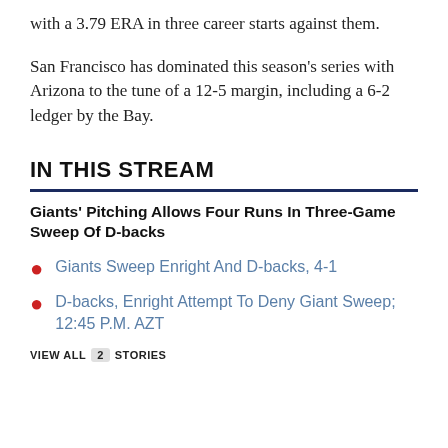with a 3.79 ERA in three career starts against them.
San Francisco has dominated this season's series with Arizona to the tune of a 12-5 margin, including a 6-2 ledger by the Bay.
IN THIS STREAM
Giants' Pitching Allows Four Runs In Three-Game Sweep Of D-backs
Giants Sweep Enright And D-backs, 4-1
D-backs, Enright Attempt To Deny Giant Sweep; 12:45 P.M. AZT
VIEW ALL 2 STORIES